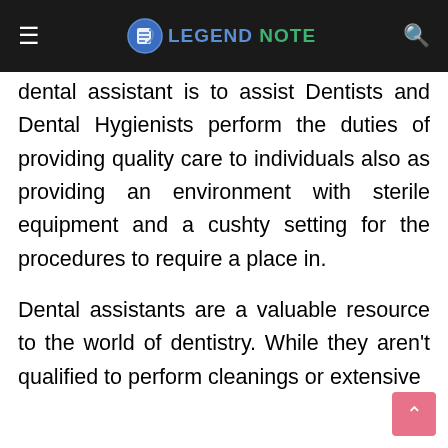LEGEND NOTE
dental assistant is to assist Dentists and Dental Hygienists perform the duties of providing quality care to individuals also as providing an environment with sterile equipment and a cushty setting for the procedures to require a place in.
Dental assistants are a valuable resource to the world of dentistry. While they aren't qualified to perform cleanings or extensive